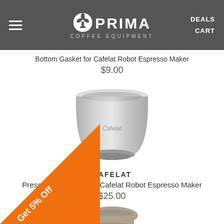PRIMA COFFEE EQUIPMENT — DEALS  CART
Bottom Gasket for Cafelat Robot Espresso Maker
$9.00
[Figure (photo): Stainless steel pressurized basket for Cafelat Robot Espresso Maker, cylindrical shape with Cafelat branding]
CAFELAT
Pressurized Basket for Cafelat Robot Espresso Maker
$25.00
[Figure (photo): Bottom partial view of another Cafelat product]
Get 5% Off